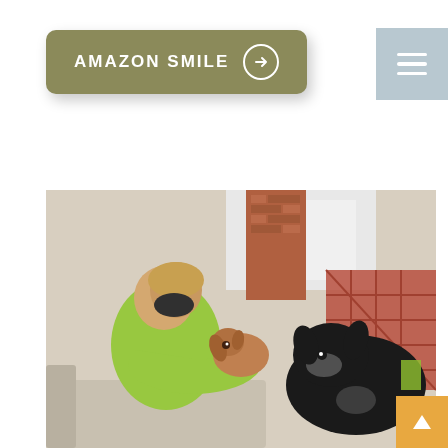[Figure (other): Button labeled AMAZON SMILE with arrow in circle, olive/khaki background color, rounded rectangle shape with drop shadow]
[Figure (other): Navigation hamburger menu icon — three horizontal white lines on a steel-blue/gray square background, positioned top right]
[Figure (photo): A woman wearing a green shirt and black face mask kissing a small brown/tan dog while a larger black and tan dog sits nearby on a couch. Background shows a brick column and decorative lattice fence outdoors.]
[Figure (other): Scroll-to-top button — orange/amber square with upward pointing triangle arrow, bottom right corner]